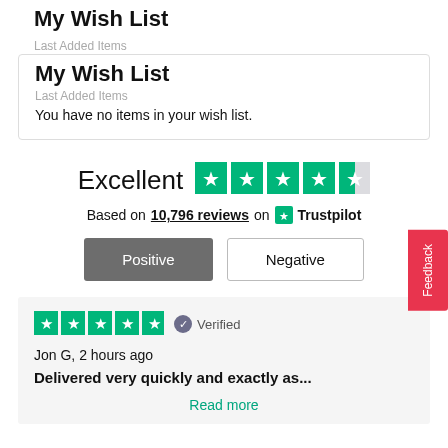My Wish List
Last Added Items
You have no items in your wish list.
[Figure (infographic): Trustpilot Excellent rating: 4.5 out of 5 stars based on 10,796 reviews]
Based on 10,796 reviews on Trustpilot
Positive | Negative buttons
[Figure (infographic): 5 green Trustpilot stars, Verified badge]
Jon G, 2 hours ago
Delivered very quickly and exactly as...
Read more